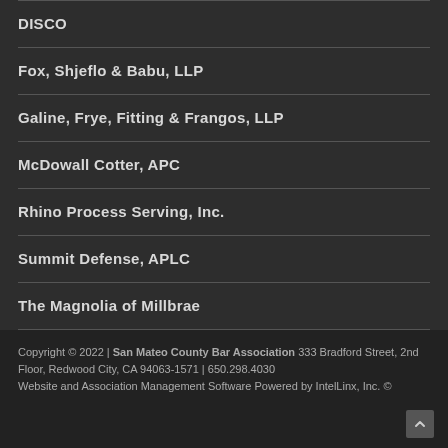DISCO
Fox, Shjeflo & Babu, LLP
Galine, Frye, Fitting & Frangos, LLP
McDowall Cotter, APC
Rhino Process Serving, Inc.
Summit Defense, APLC
The Magnolia of Millbrae
Copyright © 2022 | San Mateo County Bar Association 333 Bradford Street, 2nd Floor, Redwood City, CA 94063-1571 | 650.298.4030
Website and Association Management Software Powered by IntelLinx, Inc. ©